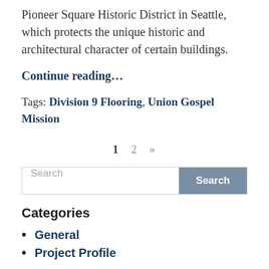Pioneer Square Historic District in Seattle, which protects the unique historic and architectural character of certain buildings.
Continue reading…
Tags: Division 9 Flooring, Union Gospel Mission
1  2  »
Search
Categories
General
Project Profile